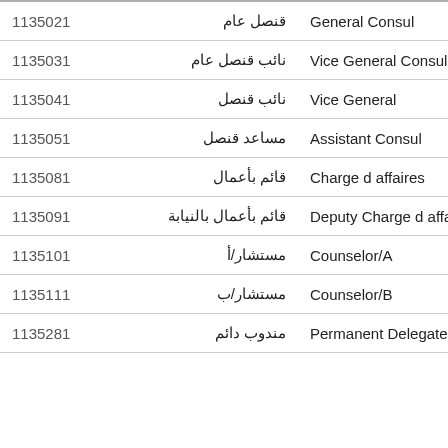| Code | Arabic | English |
| --- | --- | --- |
| 1135021 | قنصل عام | General Consul |
| 1135031 | نائب قنصل عام | Vice General Consul |
| 1135041 | نائب قنصل | Vice General |
| 1135051 | مساعد قنصل | Assistant Consul |
| 1135081 | قائم بأعمال | Charge d affaires |
| 1135091 | قائم بأعمال بالنيابة | Deputy Charge d affaires |
| 1135101 | مستشار/أ | Counselor/A |
| 1135111 | مستشار/ب | Counselor/B |
| 1135281 | مندوب دائم | Permanent Delegate |